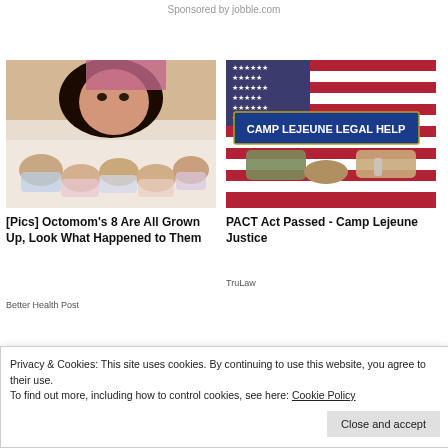Sponsored by jobble.com
[Figure (photo): Woman lying with multiple newborn babies (Octomom photo)]
[Pics] Octomom's 8 Are All Grown Up, Look What Happened to Them
Better Health Post
[Figure (photo): American flag background with military handshake and 'CAMP LEJEUNE LEGAL HELP' banner]
PACT Act Passed - Camp Lejeune Justice
TruLaw
Privacy & Cookies: This site uses cookies. By continuing to use this website, you agree to their use.
To find out more, including how to control cookies, see here: Cookie Policy
Close and accept